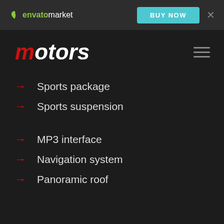envato market | BUY NOW
motors
Sports package
Sports suspension
MP3 interface
Navigation system
Panoramic roof
Specifications